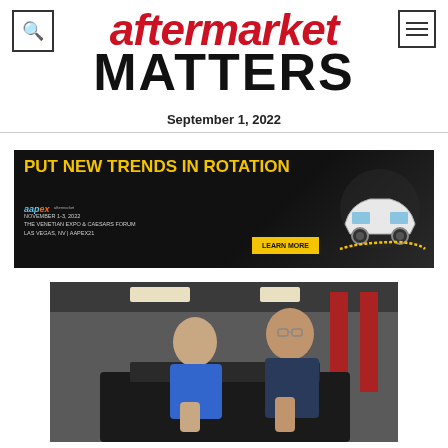aftermarket MATTERS — September 1, 2022
[Figure (infographic): AAPEX 'Put New Trends in Rotation' advertisement banner with yellow text on dark background, aapex logo, November 1-3 2022 at Venetian Expo & Caesars Forum, Las Vegas NV, LEARN MORE button, car illustration]
[Figure (photo): Two young men in a garage/auto shop working under the hood of a car; one wearing blue shirt, one wearing dark t-shirt with glasses]